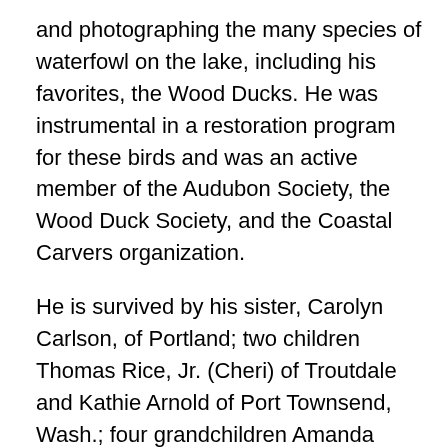and photographing the many species of waterfowl on the lake, including his favorites, the Wood Ducks. He was instrumental in a restoration program for these birds and was an active member of the Audubon Society, the Wood Duck Society, and the Coastal Carvers organization.
He is survived by his sister, Carolyn Carlson, of Portland; two children Thomas Rice, Jr. (Cheri) of Troutdale and Kathie Arnold of Port Townsend, Wash.; four grandchildren Amanda Bayha (Matt) and Kristina Rice of Portland and Jeff (Amber) and David Arnold of Port Townsend; two great-grandchildren Amelia and Bennett Bayha; and numerous nieces and nephews.
His wife of 61 years, Frannie, died earlier in October of 2009.